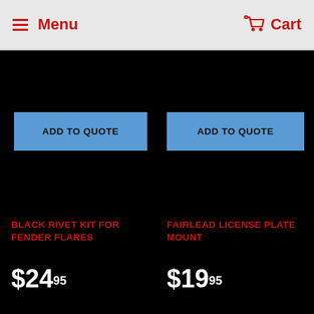Menu   Cart
ADD TO QUOTE
ADD TO QUOTE
BLACK RIVET KIT FOR FENDER FLARES
$24.95
FAIRLEAD LICENSE PLATE MOUNT
$19.95